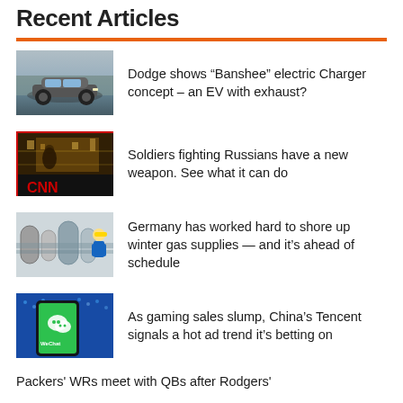Recent Articles
Dodge shows “Banshee” electric Charger concept – an EV with exhaust?
Soldiers fighting Russians have a new weapon. See what it can do
Germany has worked hard to shore up winter gas supplies — and it’s ahead of schedule
As gaming sales slump, China’s Tencent signals a hot ad trend it’s betting on
Packers' WRs meet with QBs after Rodgers'